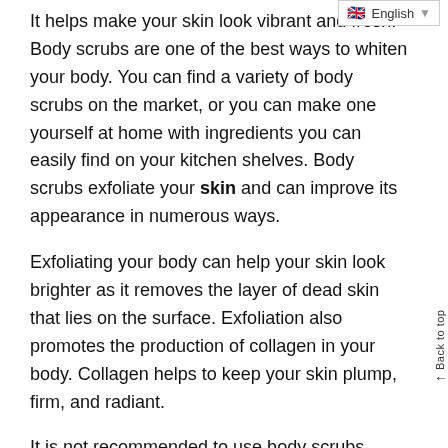English
It helps make your skin look vibrant and fresh. Body scrubs are one of the best ways to whiten your body. You can find a variety of body scrubs on the market, or you can make one yourself at home with ingredients you can easily find on your kitchen shelves. Body scrubs exfoliate your skin and can improve its appearance in numerous ways.
Exfoliating your body can help your skin look brighter as it removes the layer of dead skin that lies on the surface. Exfoliation also promotes the production of collagen in your body. Collagen helps to keep your skin plump, firm, and radiant.
It is not recommended to use body scrubs every single day as over-exfoliating can leave your skin feeling irritated, dry, and sensitive. You should use a body scrub at least twice a week. Massage the body scrub on your skin and wash it off with warm water. Use these scrubs gently, and you will notice a difference in the tone of your skin. Another reason not to over-exfoliate is that